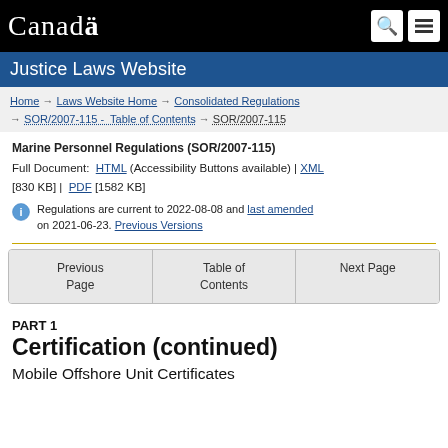Canada — Justice Laws Website
Home → Laws Website Home → Consolidated Regulations → SOR/2007-115 - Table of Contents → SOR/2007-115
Marine Personnel Regulations (SOR/2007-115)
Full Document: HTML (Accessibility Buttons available) | XML [830 KB] | PDF [1582 KB]
Regulations are current to 2022-08-08 and last amended on 2021-06-23. Previous Versions
Previous Page | Table of Contents | Next Page
PART 1
Certification (continued)
Mobile Offshore Unit Certificates